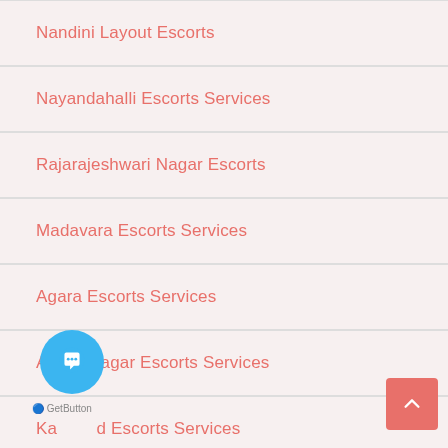Nandini Layout Escorts
Nayandahalli Escorts Services
Rajarajeshwari Nagar Escorts
Madavara Escorts Services
Agara Escorts Services
Ananthnagar Escorts Services
Kamad Escorts Services